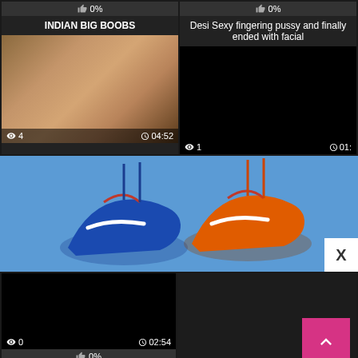[Figure (screenshot): Like bar showing 0% for left video card (top)]
INDIAN BIG BOOBS
[Figure (screenshot): Like bar showing 0% for right video card (top)]
Desi Sexy fingering pussy and finally ended with facial
[Figure (photo): Video thumbnail showing nude torso, views: 4, duration: 04:52]
[Figure (photo): Black video thumbnail, views: 1, duration: 01:XX]
[Figure (photo): Advertisement banner showing Nike sneakers (blue and orange) hanging against blue background with X close button]
[Figure (screenshot): Black video thumbnail bottom left, views: 0, duration: 02:54]
[Figure (screenshot): Like bar showing 0% for bottom left card]
Desi indian girlfriend creamy
[Figure (screenshot): Back to top pink button bottom right]